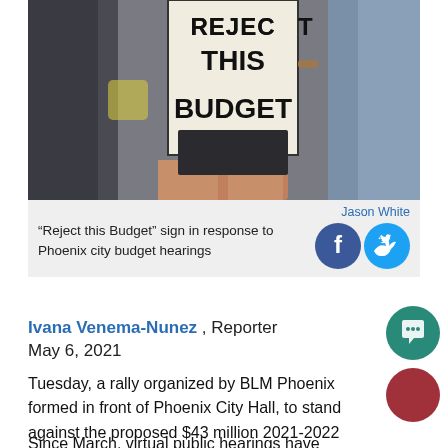[Figure (photo): Person holding a 'Reject This Budget' sign at a protest in front of Phoenix City Hall. Partial view of protesters, sign visible in center of frame.]
Jason White
"Reject this Budget" sign in response to Phoenix city budget hearings
Ivana Venema-Nunez , Reporter
May 6, 2021
Tuesday, a rally organized by BLM Phoenix formed in front of Phoenix City Hall, to stand against the proposed $43 million 2021-2022 city budget.
Since March, virtual public hearings have allowed community members to state their